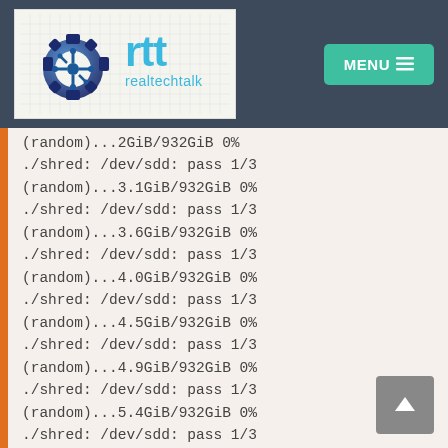[Figure (logo): realtechtalk logo with gear/circuit icon and 'rtt realtechtalk' text on light grid background]
MENU ☰
(random)...2GiB/932GiB 0%
./shred: /dev/sdd: pass 1/3
(random)...3.1GiB/932GiB 0%
./shred: /dev/sdd: pass 1/3
(random)...3.6GiB/932GiB 0%
./shred: /dev/sdd: pass 1/3
(random)...4.0GiB/932GiB 0%
./shred: /dev/sdd: pass 1/3
(random)...4.5GiB/932GiB 0%
./shred: /dev/sdd: pass 1/3
(random)...4.9GiB/932GiB 0%
./shred: /dev/sdd: pass 1/3
(random)...5.4GiB/932GiB 0%
./shred: /dev/sdd: pass 1/3
(random)...5.8GiB/932GiB 0%
./shred: /dev/sdd: pass 1/3
(random)...6.3GiB/932GiB 0%